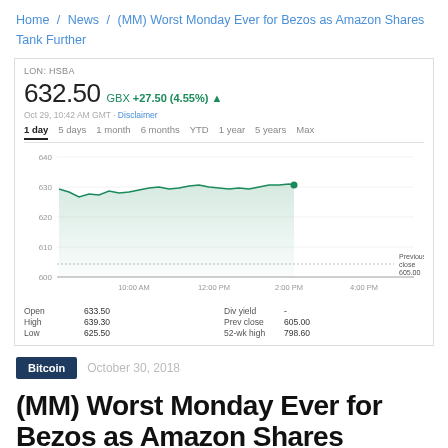Home / News / (MM) Worst Monday Ever for Bezos as Amazon Shares Tank Further
[Figure (continuous-plot): Stock chart for LON: HSBA showing intraday price at 632.50 GBX, up +27.50 (4.55%). Chart shows 1-day view with time axis from 10:00 AM to 4:00 PM. Price range approximately 600-640. Green line chart with shaded area. Previous close dotted line at 605.00. Stats: Open 633.50, High 639.30, Low 625.50, Div yield -, Prev close 605.00, 52-wk high 798.60.]
Bitcoin   October 30, 2018
(MM) Worst Monday Ever for Bezos as Amazon Shares